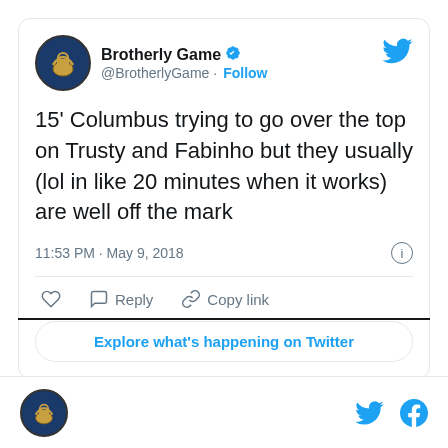[Figure (screenshot): Twitter/X tweet card from @BrotherlyGame with avatar, display name, verified badge, follow button, tweet text, timestamp, action buttons (like, reply, copy link), and explore button]
15' Columbus trying to go over the top on Trusty and Fabinho but they usually (lol in like 20 minutes when it works) are well off the mark
11:53 PM · May 9, 2018
Explore what's happening on Twitter